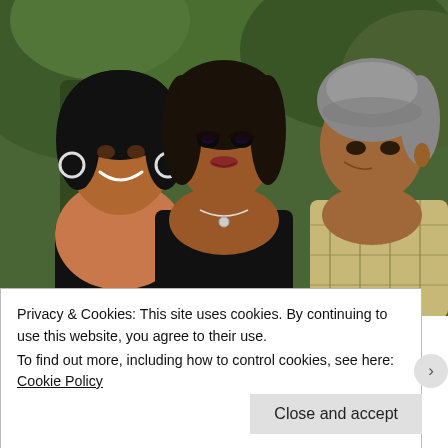[Figure (photo): Family photo of three people posing together outdoors in front of trees. A woman on the left with dark flowing hair wearing a black top, a young woman in the center wearing a black spaghetti-strap top with a silver necklace, and a man on the right with grey hair wearing a plaid shirt.]
[Pics] Obama Turns 60 And This Is The
Privacy & Cookies: This site uses cookies. By continuing to use this website, you agree to their use.
To find out more, including how to control cookies, see here:
Cookie Policy
Close and accept